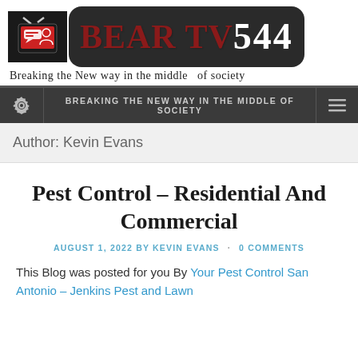[Figure (logo): Bear TV 544 website logo: TV icon on black background, red serif 'BEAR TV' text, dark badge with '544']
Breaking the New way in the middle  of society
BREAKING THE NEW WAY IN THE MIDDLE OF SOCIETY
Author: Kevin Evans
Pest Control – Residential And Commercial
AUGUST 1, 2022 BY KEVIN EVANS · 0 COMMENTS
This Blog was posted for you By Your Pest Control San Antonio – Jenkins Pest and Lawn